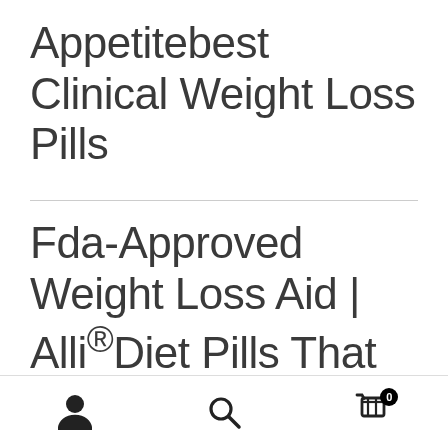Appetitebest Clinical Weight Loss Pills
Fda-Approved Weight Loss Aid | Alli®Diet Pills That Reduce Appetitebest Clinical Weight Loss Pills